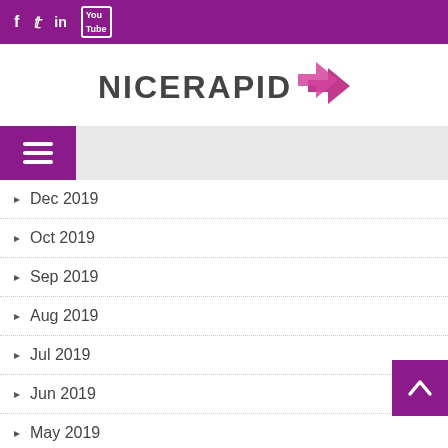Social media bar with icons: Facebook, Twitter, LinkedIn, YouTube
[Figure (logo): NICERAPID logo with pink arrow icon]
Dec 2019
Oct 2019
Sep 2019
Aug 2019
Jul 2019
Jun 2019
May 2019